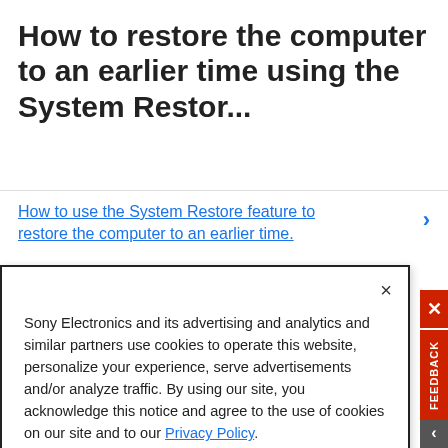How to restore the computer to an earlier time using the System Restor...
How to use the System Restore feature to restore the computer to an earlier time.
Sony Electronics and its advertising and analytics and similar partners use cookies to operate this website, personalize your experience, serve advertisements and/or analyze traffic. By using our site, you acknowledge this notice and agree to the use of cookies on our site and to our Privacy Policy.
Manage Cookies